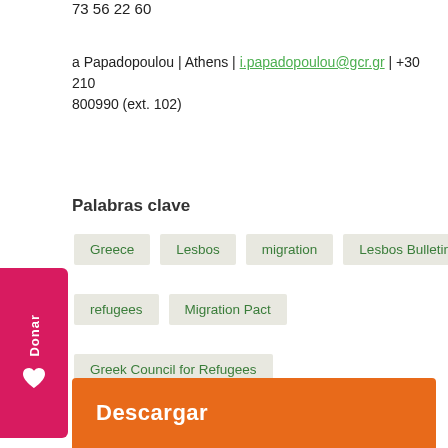73 56 22 60
a Papadopoulou | Athens | i.papadopoulou@gcr.gr | +30 210 800990 (ext. 102)
Palabras clave
Greece
Lesbos
migration
Lesbos Bulletin
refugees
Migration Pact
Greek Council for Refugees
Descargar